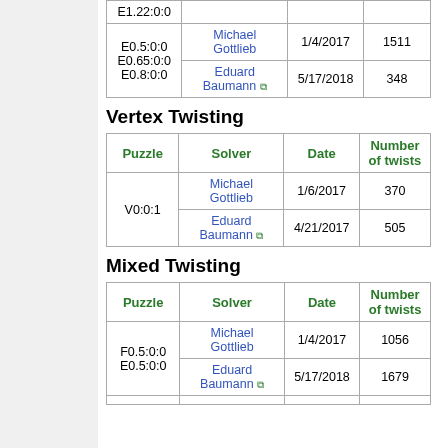| Puzzle | Solver | Date | Number of twists |
| --- | --- | --- | --- |
| E1.22:0:0 |  |  |  |
| E0.5:0:0
E0.65:0:0
E0.8:0:0 | Michael Gottlieb | 1/4/2017 | 1511 |
| E0.5:0:0
E0.65:0:0
E0.8:0:0 | Eduard Baumann | 5/17/2018 | 348 |
Vertex Twisting
| Puzzle | Solver | Date | Number of twists |
| --- | --- | --- | --- |
| V0:0:1 | Michael Gottlieb | 1/6/2017 | 370 |
| V0:0:1 | Eduard Baumann | 4/21/2017 | 505 |
Mixed Twisting
| Puzzle | Solver | Date | Number of twists |
| --- | --- | --- | --- |
| F0.5:0:0
E0.5:0:0 | Michael Gottlieb | 1/4/2017 | 1056 |
| F0.5:0:0
E0.5:0:0 | Eduard Baumann | 5/17/2018 | 1679 |